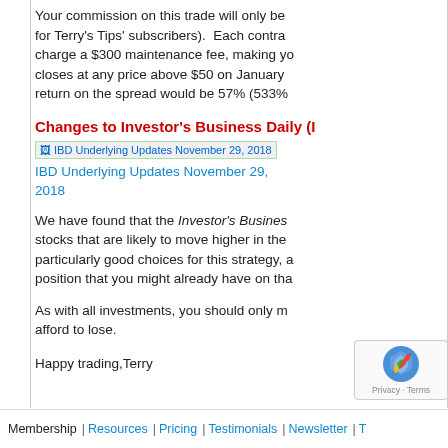Your commission on this trade will only be for Terry's Tips' subscribers).  Each contra charge a $300 maintenance fee, making y closes at any price above $50 on January return on the spread would be 57% (533%
Changes to Investor's Business Daily (I
[Figure (screenshot): IBD Underlying Updates November 29, 2018 link image placeholder]
IBD Underlying Updates November 29, 2018
We have found that the Investor's Busines stocks that are likely to move higher in the particularly good choices for this strategy, position that you might already have on th
As with all investments, you should only m afford to lose.
Happy trading,Terry
Membership | Resources | Pricing | Testimonials | Newsletter | T